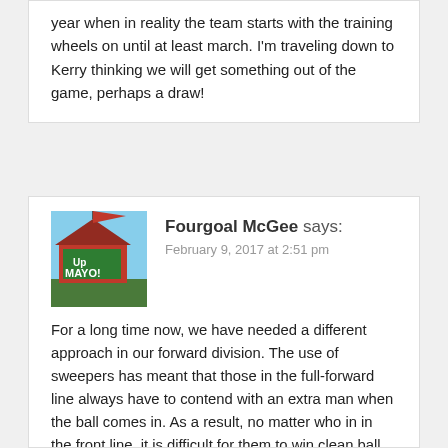year when in reality the team starts with the training wheels on until at least march. I'm traveling down to Kerry thinking we will get something out of the game, perhaps a draw!
Fourgoal McGee says: February 9, 2017 at 2:51 pm
[Figure (photo): Avatar image showing a red barn with 'Up Mayo!' text painted in green and white]
For a long time now, we have needed a different approach in our forward division. The use of sweepers has meant that those in the full-forward line always have to contend with an extra man when the ball comes in. As a result, no matter who in in the front line, it is difficult for them to win clean ball. On this site, it is common to hear comments on who is NOT the man for full forward and it is my contention that this will continue to be the case until we make some changes in the way we attack generally.
Too often, our backs turn over ball only to see progress slow down as the attack reaches midfield. A few seconds of a delay around the middle gives the opposition defence a chance to set up, resulting in few (if any) options except to